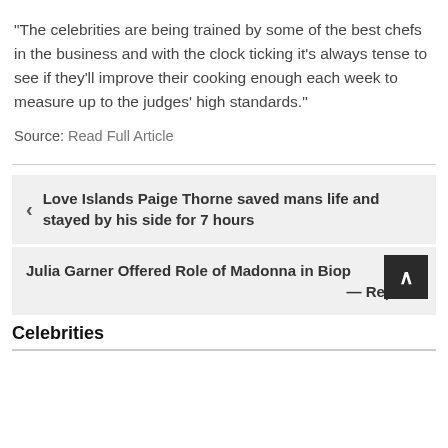"The celebrities are being trained by some of the best chefs in the business and with the clock ticking it's always tense to see if they'll improve their cooking enough each week to measure up to the judges' high standards."
Source: Read Full Article
Love Islands Paige Thorne saved mans life and stayed by his side for 7 hours
Julia Garner Offered Role of Madonna in Biop… — Report
Celebrities